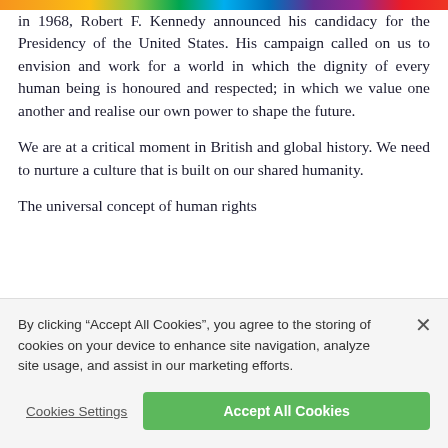in 1968, Robert F. Kennedy announced his candidacy for the Presidency of the United States. His campaign called on us to envision and work for a world in which the dignity of every human being is honoured and respected; in which we value one another and realise our own power to shape the future.
We are at a critical moment in British and global history. We need to nurture a culture that is built on our shared humanity.
The universal concept of human rights
By clicking “Accept All Cookies”, you agree to the storing of cookies on your device to enhance site navigation, analyze site usage, and assist in our marketing efforts.